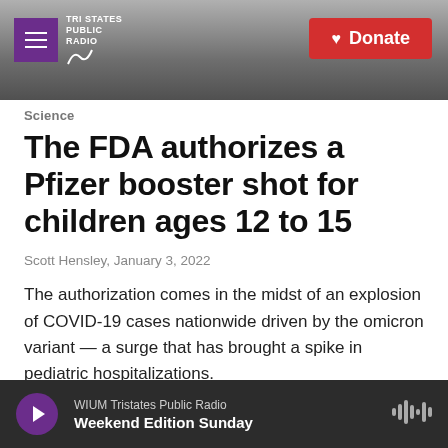Tri States Public Radio | Donate
Science
The FDA authorizes a Pfizer booster shot for children ages 12 to 15
Scott Hensley, January 3, 2022
The authorization comes in the midst of an explosion of COVID-19 cases nationwide driven by the omicron variant — a surge that has brought a spike in pediatric hospitalizations.
WIUM Tristates Public Radio | Weekend Edition Sunday